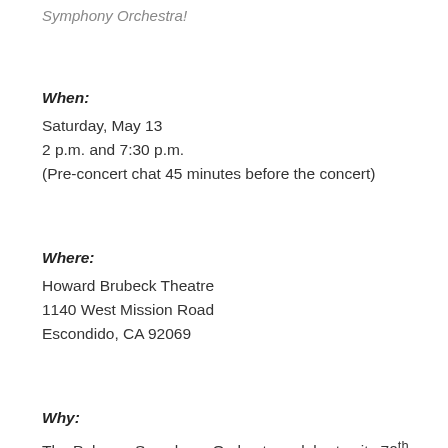Symphony Orchestra!
When:
Saturday, May 13
2 p.m. and 7:30 p.m.
(Pre-concert chat 45 minutes before the concert)
Where:
Howard Brubeck Theatre
1140 West Mission Road
Escondido, CA 92069
Why:
The Palomar Symphony Orchestra celebrates its 70th